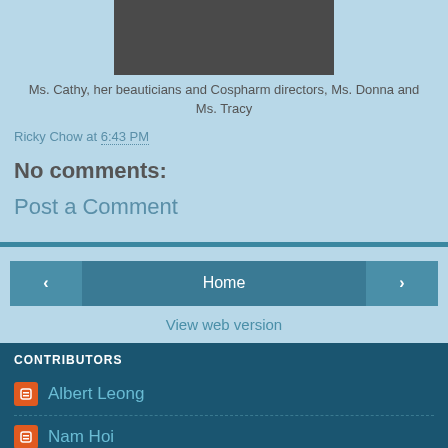[Figure (photo): Group photo of Ms. Cathy, her beauticians and Cospharm directors]
Ms. Cathy, her beauticians and Cospharm directors, Ms. Donna and Ms. Tracy
Ricky Chow at 6:43 PM
No comments:
Post a Comment
‹
Home
›
View web version
CONTRIBUTORS
Albert Leong
Nam Hoi
Ricky Chow